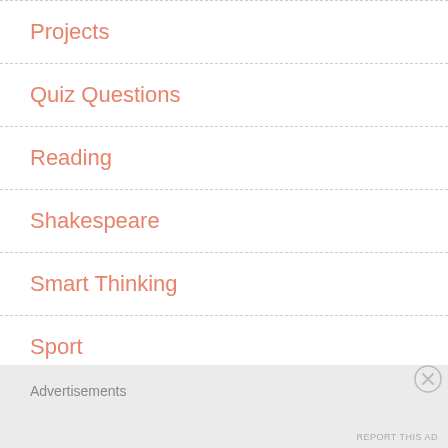Projects
Quiz Questions
Reading
Shakespeare
Smart Thinking
Sport
Technology
Tenable
Advertisements
REPORT THIS AD